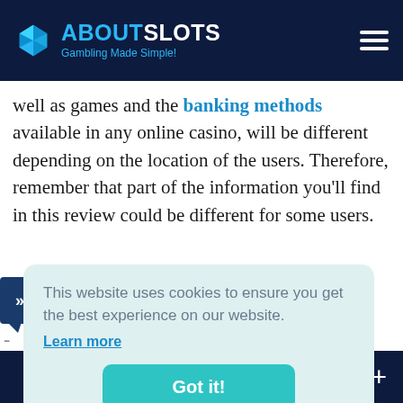ABOUTSLOTS - Gambling Made Simple!
well as games and the banking methods available in any online casino, will be different depending on the location of the users. Therefore, remember that part of the information you'll find in this review could be different for some users.
This website uses cookies to ensure you get the best experience on our website.
Learn more
Got it!